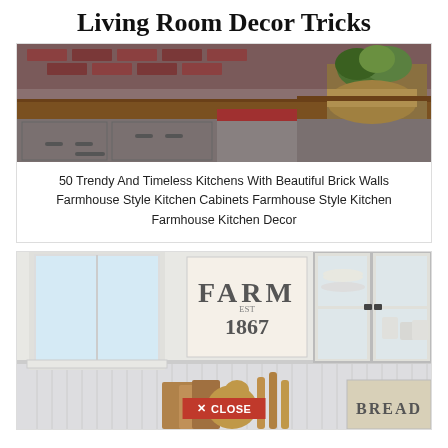Living Room Decor Tricks
[Figure (photo): Farmhouse style kitchen with gray cabinets, brick backsplash, wooden countertop, and decorative kale plant in a basket]
50 Trendy And Timeless Kitchens With Beautiful Brick Walls Farmhouse Style Kitchen Cabinets Farmhouse Style Kitchen Farmhouse Kitchen Decor
[Figure (photo): Farmhouse kitchen interior with white glass-front cabinets displaying dishes and bowls, a FARM 1867 sign, beadboard wainscoting, wooden cutting boards, and a BREAD box]
✕ CLOSE